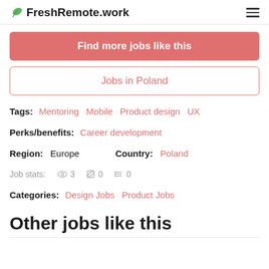FreshRemote.work
Find more jobs like this
Jobs in Poland
Tags: Mentoring  Mobile  Product design  UX
Perks/benefits: Career development
Region: Europe   Country: Poland
Job stats: 3  0  0
Categories: Design Jobs  Product Jobs
Other jobs like this